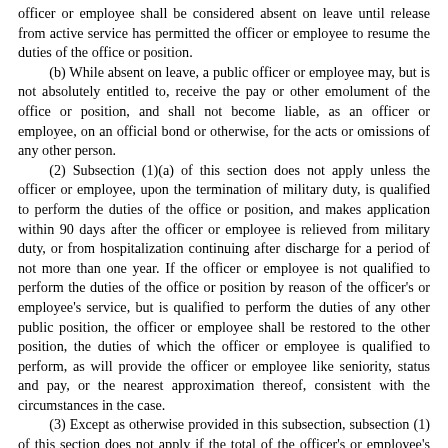officer or employee shall be considered absent on leave until release from active service has permitted the officer or employee to resume the duties of the office or position. (b) While absent on leave, a public officer or employee may, but is not absolutely entitled to, receive the pay or other emolument of the office or position, and shall not become liable, as an officer or employee, on an official bond or otherwise, for the acts or omissions of any other person. (2) Subsection (1)(a) of this section does not apply unless the officer or employee, upon the termination of military duty, is qualified to perform the duties of the office or position, and makes application within 90 days after the officer or employee is relieved from military duty, or from hospitalization continuing after discharge for a period of not more than one year. If the officer or employee is not qualified to perform the duties of the office or position by reason of the officer's or employee's service, but is qualified to perform the duties of any other public position, the officer or employee shall be restored to the other position, the duties of which the officer or employee is qualified to perform, as will provide the officer or employee like seniority, status and pay, or the nearest approximation thereof, consistent with the circumstances in the case. (3) Except as otherwise provided in this subsection, subsection (1) of this section does not apply if the total of the officer's or employee's military duty exceeds five years. Subsection (1) of this section is applicable with regard to military duty that exceeds five